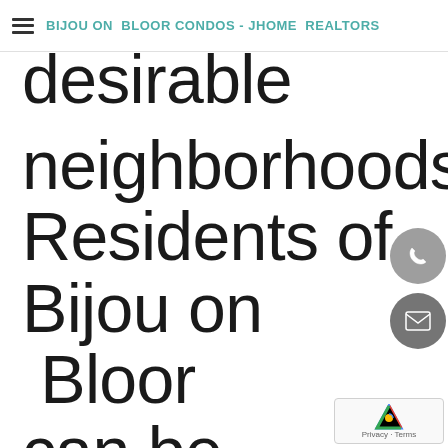BIJOU ON BLOOR CONDOS - JHOME REALTORS
desirable neighborhoods. Residents of Bijou on Bloor can be confident that the architecture,